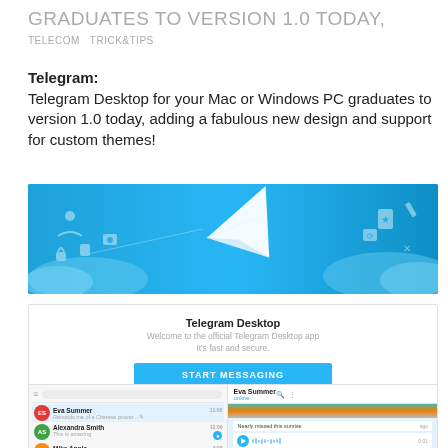GRADUATES TO VERSION 1.0 TODAY,
TELECOM   TRICK&TIPS
Telegram:
Telegram Desktop for your Mac or Windows PC graduates to version 1.0 today, adding a fabulous new design and support for custom themes!
[Figure (screenshot): Telegram Desktop welcome screen showing paper plane logo on blue gradient background]
[Figure (screenshot): Telegram Desktop app welcome dialog with title, subtitle and START MESSAGING button]
[Figure (screenshot): Telegram Desktop app interface showing chat list on left and Eva Summer conversation on right with photo and voice message]